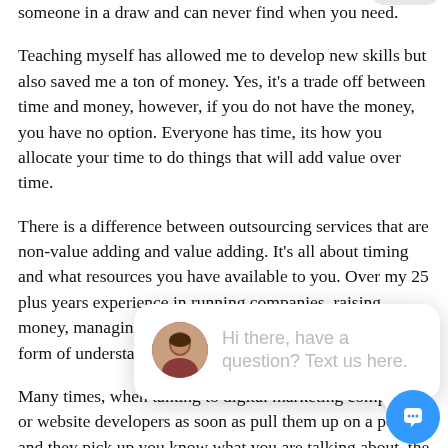someone in a draw and can never find when you need.
Teaching myself has allowed me to develop new skills but also saved me a ton of money. Yes, it's a trade off between time and money, however, if you do not have the money, you have no option. Everyone has time, its how you allocate your time to do things that will add value over time.
There is a difference between outsourcing services that are non-value adding and value adding. It's all about timing and what resources you have available to you. Over my 25 plus years experience in running companies, raising money, managing sta... people need... should never... form of unde... not need to b... what's involved.
Many times, when talking to digital marketing companies or website developers as soon as pull them up on a point and they pick up you know what you are talking about, the tone of the
[Figure (other): Live chat widget overlay with a woman avatar photo and text 'Hi there, have a question? Text us here.' with a close button and a blue speech bubble icon.]